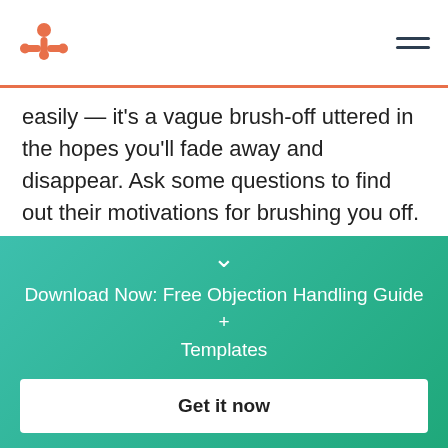HubSpot logo and navigation menu
easily — it's a vague brush-off uttered in the hopes you'll fade away and disappear. Ask some questions to find out their motivations for brushing you off.
Example Rebuttal
“I’ll touch base next quarter. Before we hang up, I’d
Download Now: Free Objection Handling Guide + Templates
Get it now